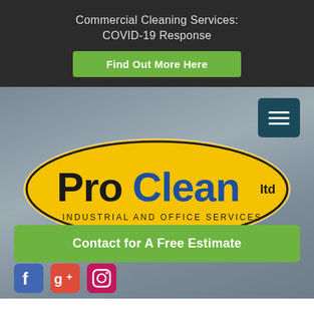Commercial Cleaning Services: COVID-19 Response
Find Out More Here
[Figure (logo): ProClean Ltd logo on a yellow oval shape with text 'INDUSTRIAL AND OFFICE SERVICES']
Contact for A Free Estimate
[Figure (infographic): Social media icons: Facebook (blue), Google Plus (red), Instagram (pink)]